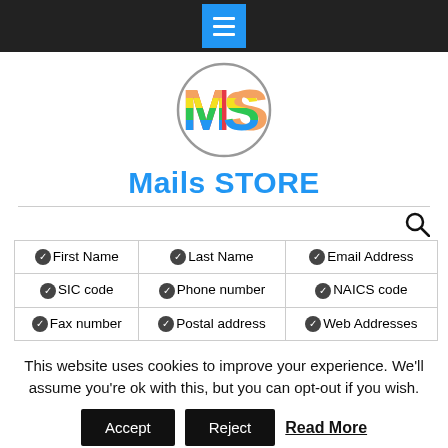Navigation bar with hamburger menu
[Figure (logo): Circular logo with rainbow-colored 'MS' letters inside a circle]
Mails STORE
| ✔First Name | ✔Last Name | ✔Email Address |
| ✔SIC code | ✔Phone number | ✔NAICS code |
| ✔Fax number | ✔Postal address | ✔Web Addresses |
This website uses cookies to improve your experience. We'll assume you're ok with this, but you can opt-out if you wish.
Accept   Reject   Read More